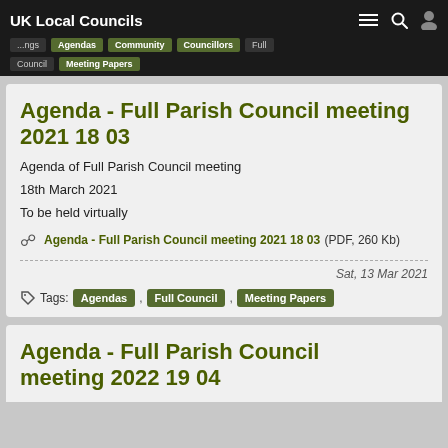UK Local Councils
Agenda - Full Parish Council meeting 2021 18 03
Agenda of Full Parish Council meeting
18th March 2021
To be held virtually
Agenda - Full Parish Council meeting 2021 18 03 (PDF, 260 Kb)
Sat, 13 Mar 2021
Tags: Agendas , Full Council , Meeting Papers
Agenda - Full Parish Council meeting 2022 19 04